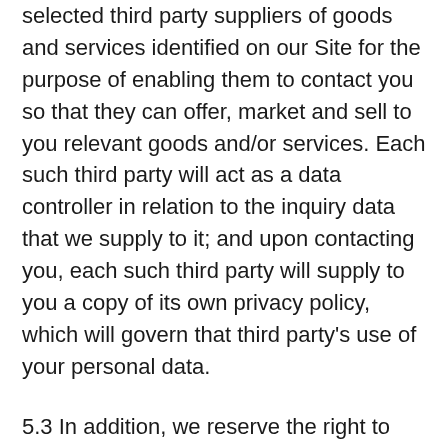selected third party suppliers of goods and services identified on our Site for the purpose of enabling them to contact you so that they can offer, market and sell to you relevant goods and/or services. Each such third party will act as a data controller in relation to the inquiry data that we supply to it; and upon contacting you, each such third party will supply to you a copy of its own privacy policy, which will govern that third party's use of your personal data.
5.3 In addition, we reserve the right to disclose your Personally Identifiable Information as required by law and when we believe that disclosure is necessary to protect our rights and/or comply with a judicial proceeding, court order, or legal process served on us, enforce or apply this Privacy Policy, Terms of Service or